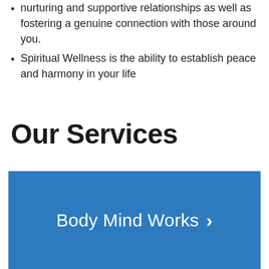nurturing and supportive relationships as well as fostering a genuine connection with those around you.
Spiritual Wellness is the ability to establish peace and harmony in your life
Our Services
[Figure (infographic): Blue rectangular banner with white text reading 'Body Mind Works' followed by a right-pointing chevron arrow]